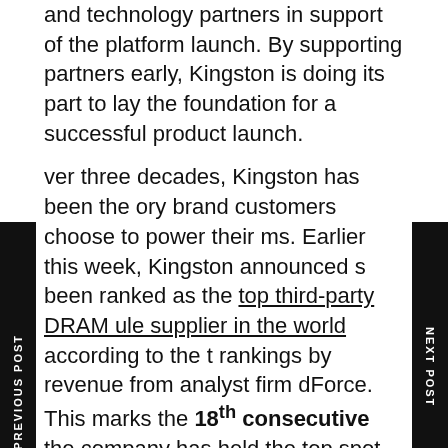and technology partners in support of the platform launch. By supporting partners early, Kingston is doing its part to lay the foundation for a successful product launch.
Over three decades, Kingston has been the memory brand customers choose to power their systems. Earlier this week, Kingston announced it has been ranked as the top third-party DRAM module supplier in the world according to the latest rankings by revenue from analyst firm DRAMandForce. This marks the 18th consecutive year the company has held the top spot and solidifies Kingston as a leading force in the market. With the launch of new platforms on the horizon, Kingston is gearing up to bring a range of DDR5 memory modules to market,